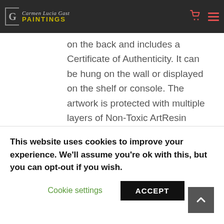Carmen Lucia Gast PAINTINGS — navigation bar with cart and menu icons
on the back and includes a Certificate of Authenticity. It can be hung on the wall or displayed on the shelf or console. The artwork is protected with multiple layers of Non-Toxic ArtResin Epoxy (UV and HALS stabilized for non-yellowing protection).
This website uses cookies to improve your experience. We'll assume you're ok with this, but you can opt-out if you wish.
Cookie settings   ACCEPT